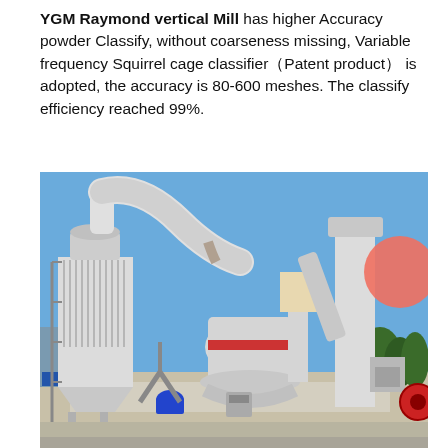YGM Raymond vertical Mill has higher Accuracy powder Classify, without coarseness missing, Variable frequency Squirrel cage classifier（Patent product） is adopted, the accuracy is 80-600 meshes. The classify efficiency reached 99%.
[Figure (photo): Outdoor industrial photo of a YGM Raymond vertical mill installation. The machinery includes large white cylindrical and rectangular components: a dust collector tower on the left with vertical fins, large white pipes curving overhead, a central Raymond mill unit with a red band near the middle, a vertical conveyor elevator on the right side, and various ancillary equipment. Blue sky background with trees visible on the right. A coral/salmon-colored circle overlay appears in the upper-right area of the image.]